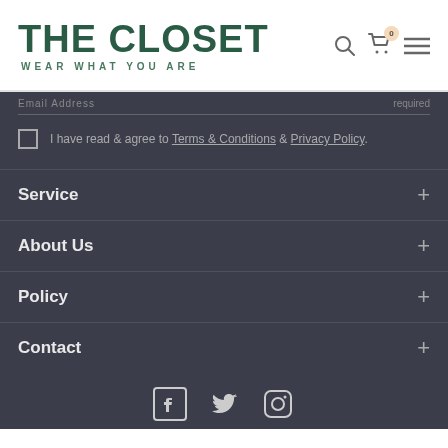THE CLOSET — WEAR WHAT YOU ARE
I have read & agree to Terms & Conditions & Privacy Policy.
Service
About Us
Policy
Contact
[Figure (other): Social media icons: Facebook, Twitter, Instagram]